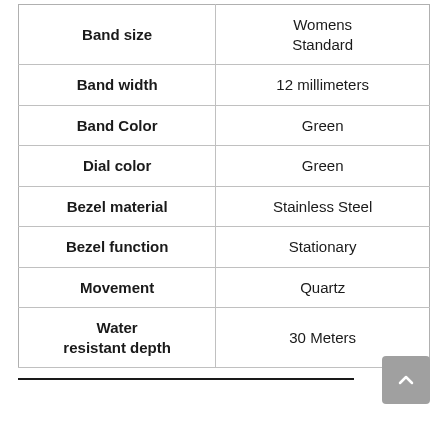|  |  |
| --- | --- |
| Band size | Womens Standard |
| Band width | 12 millimeters |
| Band Color | Green |
| Dial color | Green |
| Bezel material | Stainless Steel |
| Bezel function | Stationary |
| Movement | Quartz |
| Water resistant depth | 30 Meters |